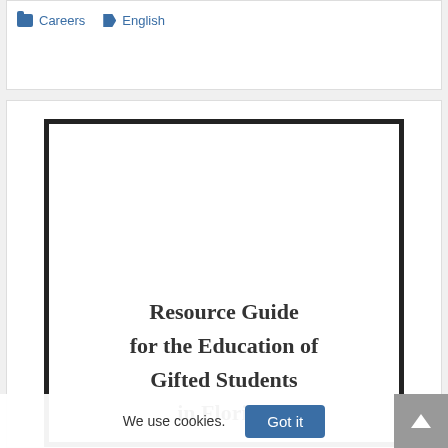Careers  English
[Figure (other): Book cover thumbnail showing the title 'Resource Guide for the Education of Gifted Students in Florida' in bold serif font on a white background with thick black border.]
We use cookies.
Got it